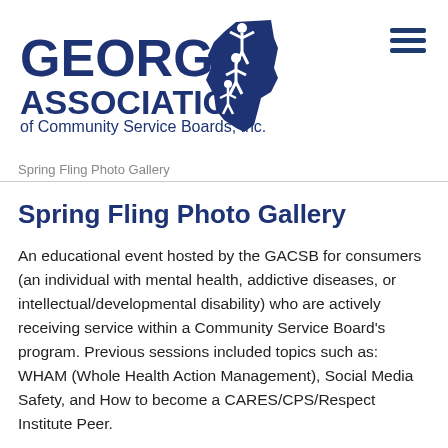[Figure (logo): Georgia Association of Community Service Boards, Inc. logo with state of Georgia silhouette and figures]
Spring Fling Photo Gallery
Spring Fling Photo Gallery
An educational event hosted by the GACSB for consumers (an individual with mental health, addictive diseases, or intellectual/developmental disability) who are actively receiving service within a Community Service Board's program. Previous sessions included topics such as: WHAM (Whole Health Action Management), Social Media Safety, and How to become a CARES/CPS/Respect Institute Peer.
A Walk Down Memory Lane: Logos of Years Past